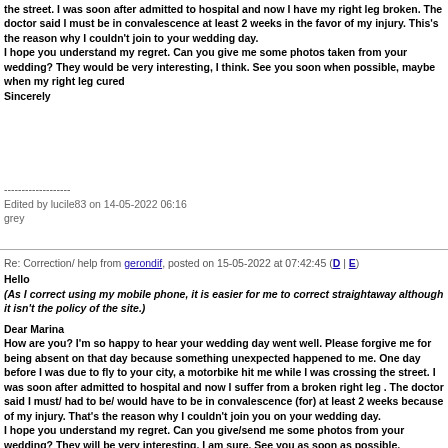the street. I was soon after admitted to hospital and now I have my right leg broken. The doctor said I must be in convalescence at least 2 weeks in the favor of my injury. This's the reason why I couldn't join to your wedding day.
I hope you understand my regret. Can you give me some photos taken from your wedding? They would be very interesting, I think. See you soon when possible, maybe when my right leg cured
Sincerely
-------------------
Edited by lucile83 on 14-05-2022 06:16
grey
Re: Correction/ help from gerondif, posted on 15-05-2022 at 07:42:45 (D | E)
Hello
(As I correct using my mobile phone, it is easier for me to correct straightaway although it isn't the policy of the site.)

Dear Marina
How are you? I'm so happy to hear your wedding day went well. Please forgive me for being absent on that day because something unexpected happened to me. One day before I was due to fly to your city, a motorbike hit me while I was crossing the street. I was soon after admitted to hospital and now I suffer from a broken right leg . The doctor said I must/ had to be/ would have to be in convalescence (for) at least 2 weeks because of my injury. That's the reason why I couldn't join you on your wedding day.
I hope you understand my regret. Can you give/send me some photos from your wedding? They will be very interesting, I am sure. See you as soon as possible,